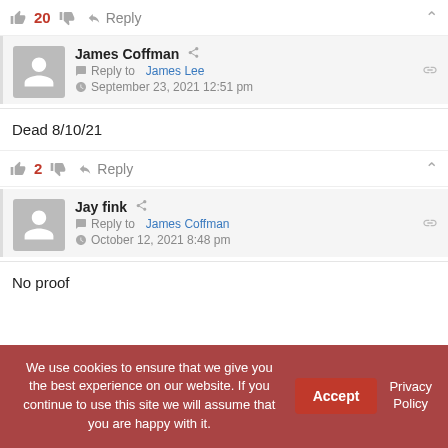👍 20 👎 ➜ Reply ∧
James Coffman  Reply to James Lee  September 23, 2021 12:51 pm
Dead 8/10/21
👍 2 👎 ➜ Reply ∧
Jay fink  Reply to James Coffman  October 12, 2021 8:48 pm
No proof
We use cookies to ensure that we give you the best experience on our website. If you continue to use this site we will assume that you are happy with it.  Accept  Privacy Policy